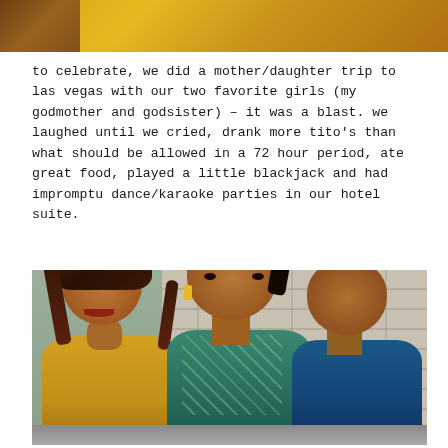[Figure (photo): Partial photo at top of page showing a golden/yellow background, cropped]
to celebrate, we did a mother/daughter trip to las vegas with our two favorite girls (my godmother and godsister) – it was a blast. we laughed until we cried, drank more tito's than what should be allowed in a 72 hour period, ate great food, played a little blackjack and had impromptu dance/karaoke parties in our hotel suite.
[Figure (photo): Photo of three women sitting together in front of a stone/brick wall background. Woman on left has long braids and wears a yellow top. Woman in center wears a teal/green tropical print top. Woman on right wears a dark blue sleeveless top.]